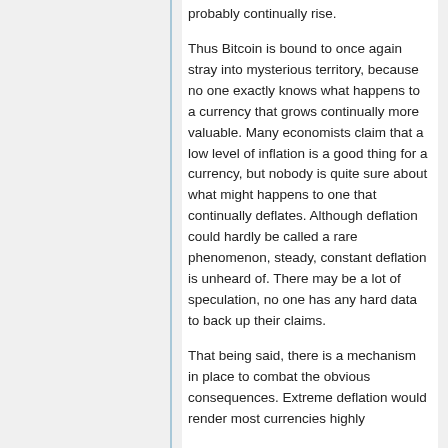probably continually rise.
Thus Bitcoin is bound to once again stray into mysterious territory, because no one exactly knows what happens to a currency that grows continually more valuable. Many economists claim that a low level of inflation is a good thing for a currency, but nobody is quite sure about what might happens to one that continually deflates. Although deflation could hardly be called a rare phenomenon, steady, constant deflation is unheard of. There may be a lot of speculation, no one has any hard data to back up their claims.
That being said, there is a mechanism in place to combat the obvious consequences. Extreme deflation would render most currencies highly incompatible if simply. Something else...